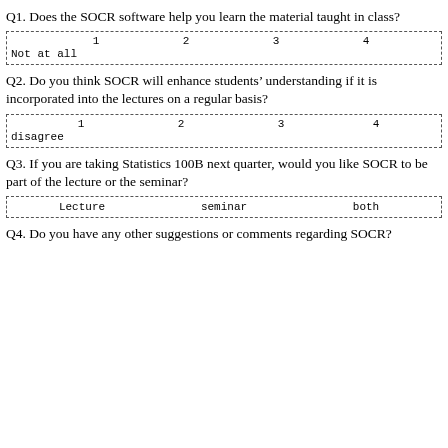Q1. Does the SOCR software help you learn the material taught in class?
| 1 | 2 | 3 | 4 |
| --- | --- | --- | --- |
| Not at all |  |  |  |
Q2. Do you think SOCR will enhance students’ understanding if it is incorporated into the lectures on a regular basis?
| 1 | 2 | 3 | 4 |
| --- | --- | --- | --- |
| disagree |  |  |  |
Q3. If you are taking Statistics 100B next quarter, would you like SOCR to be part of the lecture or the seminar?
| Lecture | seminar | both |
| --- | --- | --- |
|  |
Q4. Do you have any other suggestions or comments regarding SOCR?